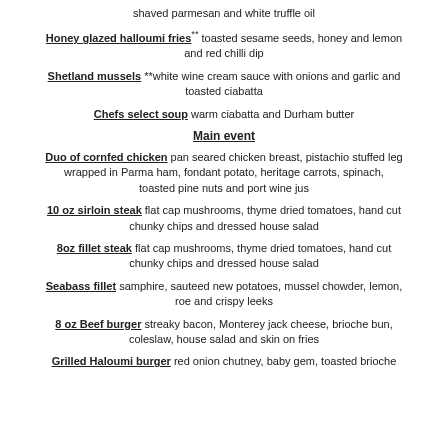shaved parmesan and white truffle oil
Honey glazed halloumi fries** toasted sesame seeds, honey and lemon and red chilli dip
Shetland mussels **white wine cream sauce with onions and garlic and toasted ciabatta
Chefs select soup warm ciabatta and Durham butter
Main event
Duo of cornfed chicken pan seared chicken breast, pistachio stuffed leg wrapped in Parma ham, fondant potato, heritage carrots, spinach, toasted pine nuts and port wine jus
10 oz sirloin steak flat cap mushrooms, thyme dried tomatoes, hand cut chunky chips and dressed house salad
8oz fillet steak flat cap mushrooms, thyme dried tomatoes, hand cut chunky chips and dressed house salad
Seabass fillet samphire, sauteed new potatoes, mussel chowder, lemon, roe and crispy leeks
8 oz Beef burger streaky bacon, Monterey jack cheese, brioche bun, coleslaw, house salad and skin on fries
Grilled Haloumi burger red onion chutney, baby gem, toasted brioche